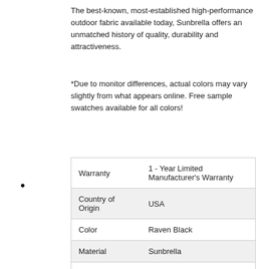The best-known, most-established high-performance outdoor fabric available today, Sunbrella offers an unmatched history of quality, durability and attractiveness.
*Due to monitor differences, actual colors may vary slightly from what appears online. Free sample swatches available for all colors!
•
| Warranty | 1 - Year Limited Manufacturer's Warranty |
| --- | --- |
| Country of Origin | USA |
| Color | Raven Black |
| Material | Sunbrella |
| Width | 50 in. |